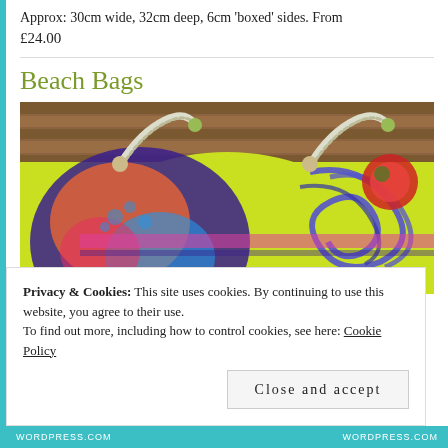Approx: 30cm wide, 32cm deep, 6cm 'boxed' sides. From £24.00
Beach Bags
[Figure (photo): Close-up photo of a colorful patterned beach bag with bright yellow-green fabric featuring blue, red, orange and purple floral and swirl designs, with rope handles visible at top.]
Privacy & Cookies: This site uses cookies. By continuing to use this website, you agree to their use. To find out more, including how to control cookies, see here: Cookie Policy
Close and accept